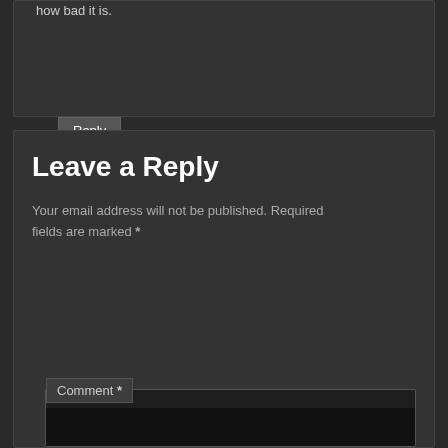how bad it is.
Reply ↓
Leave a Reply
Your email address will not be published. Required fields are marked *
Comment *